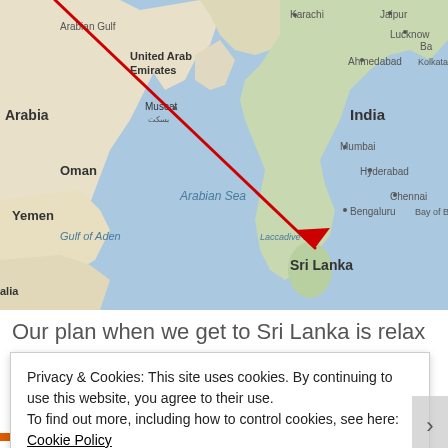[Figure (map): Map showing a route from the Arabian Gulf/Middle East region (UAE/Oman area) to Sri Lanka, indicated by a red arrow line traveling from the upper-left toward Sri Lanka in the lower-right. The map shows countries including Arabia, Yemen, Oman, United Arab Emirates, India, and Sri Lanka, with bodies of water labeled as Arabian Gulf, Arabian Sea, Gulf of Aden, and Laccadive Sea. Cities labeled include Karachi, Jaipur, Lucknow, Ahmedabad, Muscat, Mumbai, Hyderabad, Bengaluru, Chennai, and Kolkata.]
Our plan when we get to Sri Lanka is relax on the
Privacy & Cookies: This site uses cookies. By continuing to use this website, you agree to their use.
To find out more, including how to control cookies, see here: Cookie Policy
Close and accept